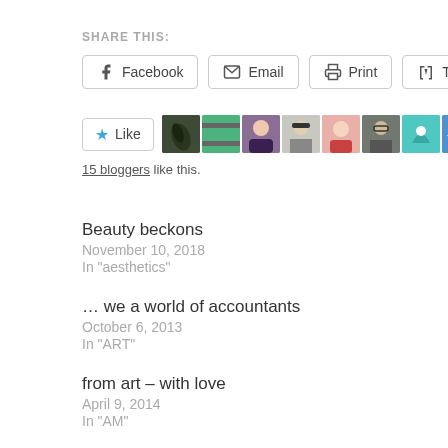SHARE THIS:
Facebook | Email | Print | Tumblr
Like  [avatars]  15 bloggers like this.
Beauty beckons
November 10, 2018
In "aesthetics"
… we a world of accountants
October 6, 2013
In "ART"
from art – with love
April 9, 2014
In "AM"